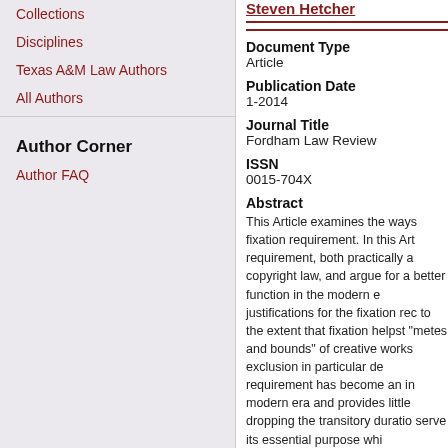Collections
Disciplines
Texas A&M Law Authors
All Authors
Author Corner
Author FAQ
Steven Hetcher
Document Type
Article
Publication Date
1-2014
Journal Title
Fordham Law Review
ISSN
0015-704X
Abstract
This Article examines the ways fixation requirement. In this Art requirement, both practically a copyright law, and argue for a better function in the modern e justifications for the fixation rec to the extent that fixation helpst "metes and bounds" of creative works exclusion in particular de requirement has become an in modern era and provides little dropping the transitory duratio serve its essential purpose whi